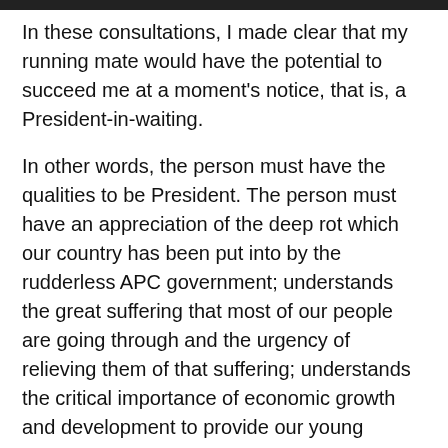In these consultations, I made clear that my running mate would have the potential to succeed me at a moment's notice, that is, a President-in-waiting.
In other words, the person must have the qualities to be President. The person must have an appreciation of the deep rot which our country has been put into by the rudderless APC government; understands the great suffering that most of our people are going through and the urgency of relieving them of that suffering; understands the critical importance of economic growth and development to provide our young people with jobs, hope, and a pathway to wealth.
The person must appreciate the critical importance of education in the development of modern societies so we can prepare our young people to be able to compete in the increasingly competitive and globalized